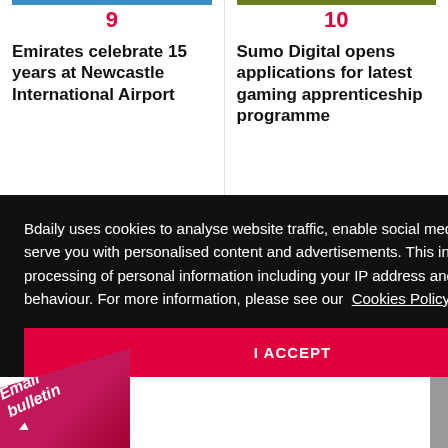9
Emirates celebrate 15 years at Newcastle International Airport
10
Sumo Digital opens applications for latest gaming apprenticeship programme
Bdaily uses cookies to analyse website traffic, enable social media features and serve you with personalised content and advertisements. This involves the processing of personal information including your IP address and browsing behaviour. For more information, please see our Cookies Policy
I ACCEPT
Email bulletin